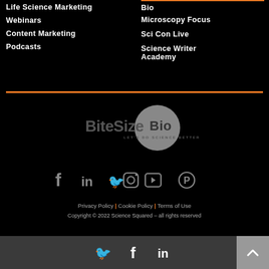Life Science Marketing
Webinars
Content Marketing
Podcasts
Bio
Microscopy Focus
Sci Con Live
Science Writer Academy
[Figure (logo): BiteSizeBio logo with tagline LET'S DO SCIENCE BETTER inside a circular badge]
[Figure (infographic): Social media icons row: Facebook, LinkedIn, Twitter, Instagram, YouTube, Pinterest]
Privacy Policy | Cookie Policy | Terms of Use
Copyright © 2022 Science Squared – all rights reserved
[Figure (infographic): Bottom bar with Twitter, Facebook, LinkedIn icons and back-to-top button]